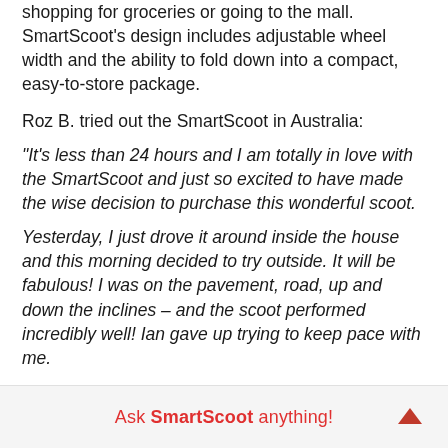shopping for groceries or going to the mall. SmartScoot's design includes adjustable wheel width and the ability to fold down into a compact, easy-to-store package.
Roz B. tried out the SmartScoot in Australia:
“It’s less than 24 hours and I am totally in love with the SmartScoot and just so excited to have made the wise decision to purchase this wonderful scoot. Yesterday, I just drove it around inside the house and this morning decided to try outside. It will be fabulous! I was on the pavement, road, up and down the inclines – and the scoot performed incredibly well! Ian gave up trying to keep pace with me.
Ask SmartScoot anything!